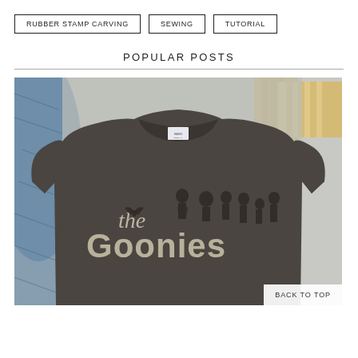RUBBER STAMP CARVING
SEWING
TUTORIAL
POPULAR POSTS
[Figure (photo): A grey Goonies t-shirt laid flat on a light grey surface, with denim fabric on the left and wooden craft blocks on the upper right. The shirt displays 'the Goonies' logo with character silhouettes.]
BACK TO TOP